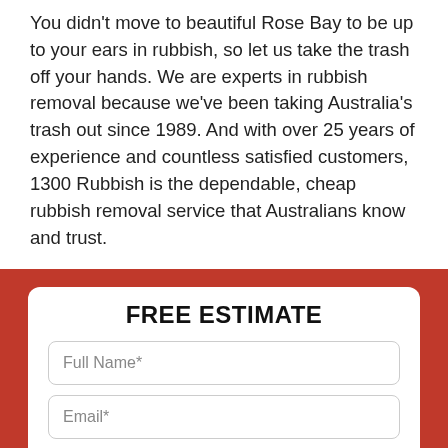You didn't move to beautiful Rose Bay to be up to your ears in rubbish, so let us take the trash off your hands. We are experts in rubbish removal because we've been taking Australia's trash out since 1989. And with over 25 years of experience and countless satisfied customers, 1300 Rubbish is the dependable, cheap rubbish removal service that Australians know and trust.
FREE ESTIMATE
Full Name*
Email*
Phone